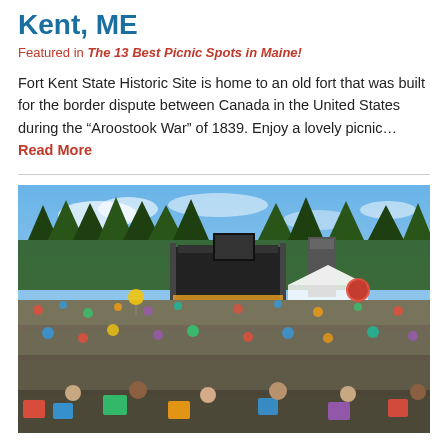Kent, ME
Featured in The 13 Best Picnic Spots in Maine!
Fort Kent State Historic Site is home to an old fort that was built for the border dispute between Canada in the United States during the “Aroostook War” of 1839. Enjoy a lovely picnic… Read More
[Figure (photo): Large outdoor crowd sitting on grass in front of an outdoor stage/concert venue, surrounded by pine trees under a blue sky with light clouds.]